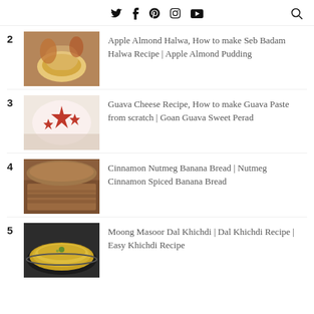Twitter Facebook Pinterest Instagram YouTube Search
2 Apple Almond Halwa, How to make Seb Badam Halwa Recipe | Apple Almond Pudding
3 Guava Cheese Recipe, How to make Guava Paste from scratch | Goan Guava Sweet Perad
4 Cinnamon Nutmeg Banana Bread | Nutmeg Cinnamon Spiced Banana Bread
5 Moong Masoor Dal Khichdi | Dal Khichdi Recipe | Easy Khichdi Recipe